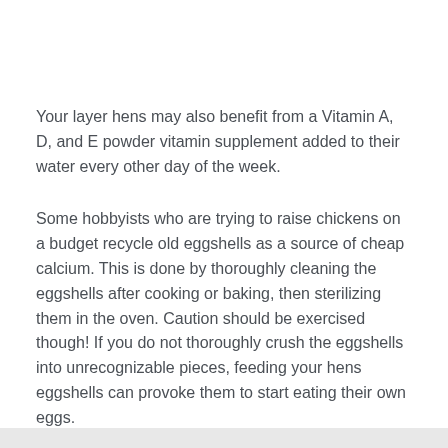Your layer hens may also benefit from a Vitamin A, D, and E powder vitamin supplement added to their water every other day of the week.
Some hobbyists who are trying to raise chickens on a budget recycle old eggshells as a source of cheap calcium. This is done by thoroughly cleaning the eggshells after cooking or baking, then sterilizing them in the oven. Caution should be exercised though! If you do not thoroughly crush the eggshells into unrecognizable pieces, feeding your hens eggshells can provoke them to start eating their own eggs.